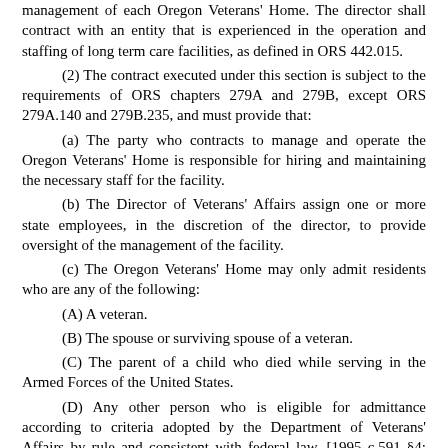management of each Oregon Veterans' Home. The director shall contract with an entity that is experienced in the operation and staffing of long term care facilities, as defined in ORS 442.015.
(2) The contract executed under this section is subject to the requirements of ORS chapters 279A and 279B, except ORS 279A.140 and 279B.235, and must provide that:
(a) The party who contracts to manage and operate the Oregon Veterans' Home is responsible for hiring and maintaining the necessary staff for the facility.
(b) The Director of Veterans' Affairs assign one or more state employees, in the discretion of the director, to provide oversight of the management of the facility.
(c) The Oregon Veterans' Home may only admit residents who are any of the following:
(A) A veteran.
(B) The spouse or surviving spouse of a veteran.
(C) The parent of a child who died while serving in the Armed Forces of the United States.
(D) Any other person who is eligible for admittance according to criteria adopted by the Department of Veterans' Affairs by rule and consistent with federal law. [1995 c.591 §4; 2003 c.794 §274; 2007 c.668 §1; 2011 c.414 §1; 2019 c.224 §3]
Note: See note under 408.365.
408.380 Application of the contract to Oregon Veterans'